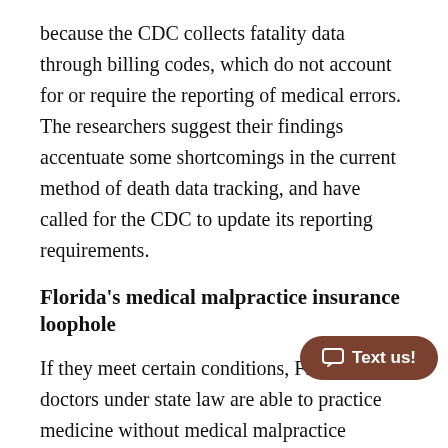because the CDC collects fatality data through billing codes, which do not account for or require the reporting of medical errors. The researchers suggest their findings accentuate some shortcomings in the current method of death data tracking, and have called for the CDC to update its reporting requirements.
Florida's medical malpractice insurance loophole
If they meet certain conditions, Florida doctors under state law are able to practice medicine without medical malpractice insurance, which can leave a patient injured by an uninsured physician's act of medical negligence in danger of [Text us! button overlapping] and dry financially even if the patient is awarded [continues]